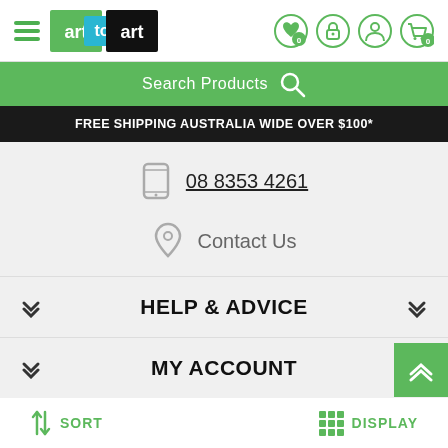[Figure (logo): Art to Art logo with hamburger menu icon and navigation icons (wishlist, lock, user, cart)]
[Figure (screenshot): Green search bar with text 'Search Products' and search icon]
FREE SHIPPING AUSTRALIA WIDE OVER $100*
08 8353 4261
Contact Us
HELP & ADVICE
MY ACCOUNT
SORT
DISPLAY